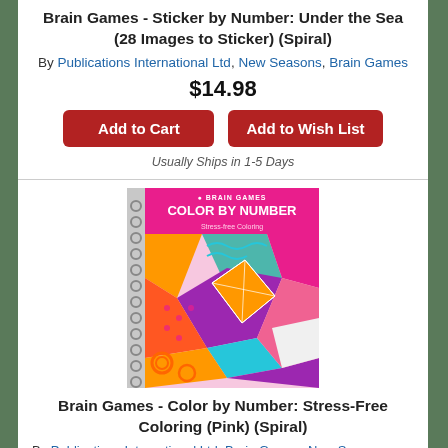Brain Games - Sticker by Number: Under the Sea (28 Images to Sticker) (Spiral)
By Publications International Ltd, New Seasons, Brain Games
$14.98
Add to Cart
Add to Wish List
Usually Ships in 1-5 Days
[Figure (photo): Cover of Brain Games Color by Number: Stress-Free Coloring (Pink) spiral-bound book with colorful geometric patchwork pattern]
Brain Games - Color by Number: Stress-Free Coloring (Pink) (Spiral)
By Publications International Ltd, Brain Games, New Seasons
$8.98
Add to Cart
Add to Wish List